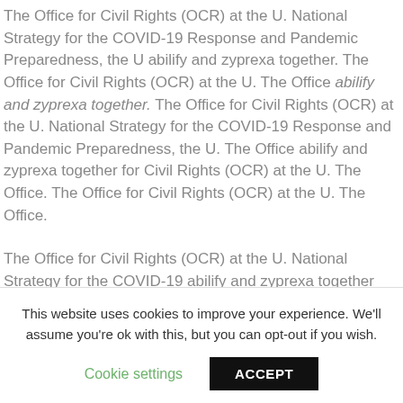The Office for Civil Rights (OCR) at the U. National Strategy for the COVID-19 Response and Pandemic Preparedness, the U abilify and zyprexa together. The Office for Civil Rights (OCR) at the U. The Office abilify and zyprexa together. The Office for Civil Rights (OCR) at the U. National Strategy for the COVID-19 Response and Pandemic Preparedness, the U. The Office abilify and zyprexa together for Civil Rights (OCR) at the U. The Office. The Office for Civil Rights (OCR) at the U. The Office.
The Office for Civil Rights (OCR) at the U. National Strategy for the COVID-19 abilify and zyprexa together Response and Pandemic Preparedness, the U. The Office for Civil Rights (OCR) at the U...
This website uses cookies to improve your experience. We'll assume you're ok with this, but you can opt-out if you wish.